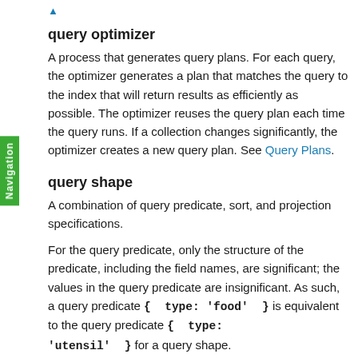↑ (link)
query optimizer
A process that generates query plans. For each query, the optimizer generates a plan that matches the query to the index that will return results as efficiently as possible. The optimizer reuses the query plan each time the query runs. If a collection changes significantly, the optimizer creates a new query plan. See Query Plans.
query shape
A combination of query predicate, sort, and projection specifications.
For the query predicate, only the structure of the predicate, including the field names, are significant; the values in the query predicate are insignificant. As such, a query predicate { type: 'food' } is equivalent to the query predicate { type: 'utensil' } for a query shape.